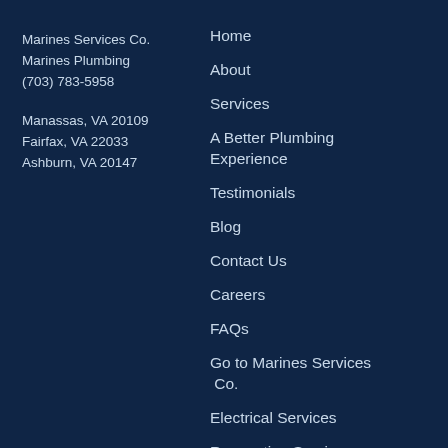Marines Services Co.
Marines Plumbing
(703) 783-5958
Manassas, VA 20109
Fairfax, VA 22033
Ashburn, VA 20147
Home
About
Services
A Better Plumbing Experience
Testimonials
Blog
Contact Us
Careers
FAQs
Go to Marines Services Co.
Electrical Services
Renovation Services